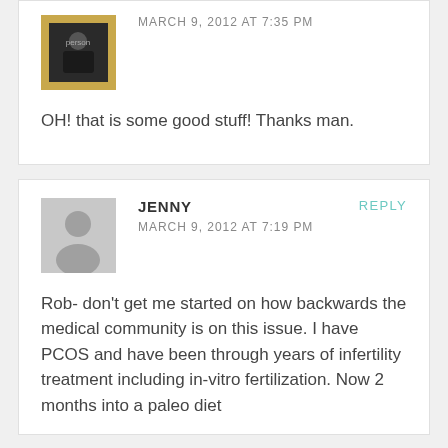[Figure (photo): User avatar photo showing a person in a black t-shirt with yellow/gold border]
MARCH 9, 2012 AT 7:35 PM
OH! that is some good stuff! Thanks man.
[Figure (illustration): Generic gray user avatar icon with silhouette of person]
JENNY
MARCH 9, 2012 AT 7:19 PM
REPLY
Rob- don't get me started on how backwards the medical community is on this issue. I have PCOS and have been through years of infertility treatment including in-vitro fertilization. Now 2 months into a paleo diet